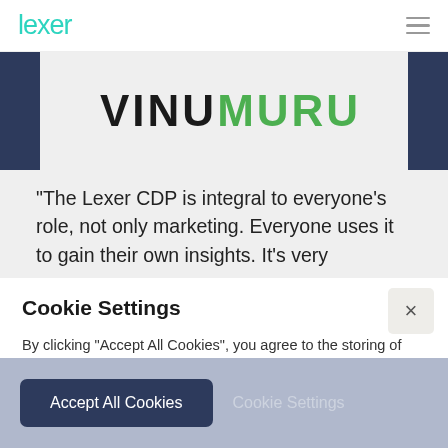[Figure (logo): Lexer logo in teal/cyan color in top navigation bar]
[Figure (logo): VinuMuru logo with 'VINU' in dark/black and 'MURU' in green, bold uppercase]
“The Lexer CDP is integral to everyone’s role, not only marketing. Everyone uses it to gain their own insights. It’s very
Cookie Settings
By clicking “Accept All Cookies”, you agree to the storing of cookies on your device to enhance site navigation, analyze site usage and assist in our marketing efforts.
More info
Accept All Cookies
Cookie Settings